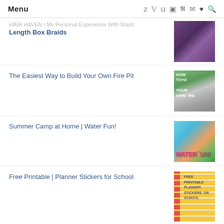Menu
HAIR HAVEN | My Personal Experience With Waist Length Box Braids
The Easiest Way to Build Your Own Fire Pit
Summer Camp at Home | Water Fun!
Free Printable | Planner Stickers for School
LIKE ON FACEBOOK